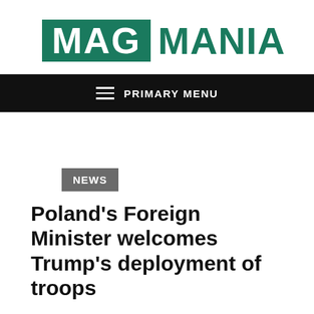[Figure (logo): MAG MANIA logo: MAG in white text on dark green rectangle, MANIA in dark green hand-drawn style text]
PRIMARY MENU
NEWS
Poland’s Foreign Minister welcomes Trump’s deployment of troops